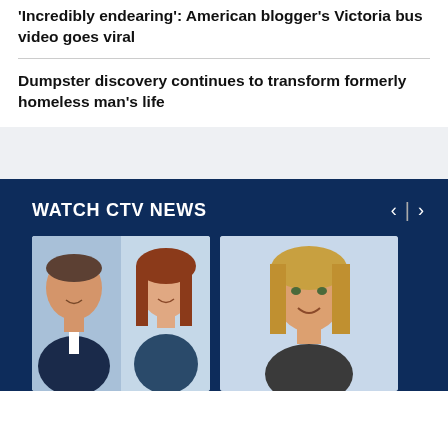'Incredibly endearing': American blogger's Victoria bus video goes viral
Dumpster discovery continues to transform formerly homeless man's life
WATCH CTV NEWS
[Figure (photo): Two news anchors (male and female) smiling, professional headshots on light blue background]
[Figure (photo): Female news anchor smiling, professional headshot on light blue background]